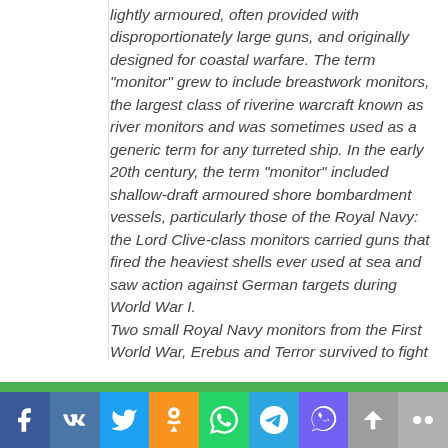lightly armoured, often provided with disproportionately large guns, and originally designed for coastal warfare. The term "monitor" grew to include breastwork monitors, the largest class of riverine warcraft known as river monitors and was sometimes used as a generic term for any turreted ship. In the early 20th century, the term "monitor" included shallow-draft armoured shore bombardment vessels, particularly those of the Royal Navy: the Lord Clive-class monitors carried guns that fired the heaviest shells ever used at sea and saw action against German targets during World War I. Two small Royal Navy monitors from the First World War, Erebus and Terror survived to fight in the Second World War. When the requirement for shore support and strong shallow-water coastal defence returned, new monitors and variants such as coastal defence ships were built. Allied monitors saw service in the
[Figure (other): Social media sharing bar with icons for Facebook, VK, Twitter, Odnoklassniki, WhatsApp, Telegram, Viber, scroll-up, and Flickr]